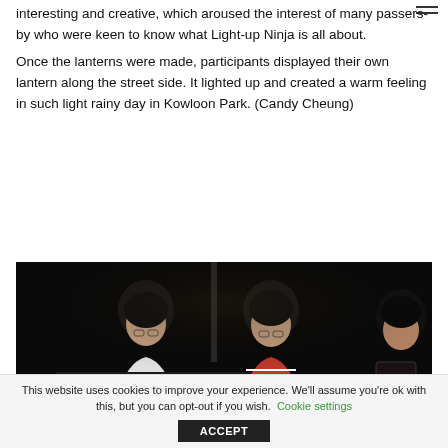interesting and creative, which aroused the interest of many passers-by who were keen to know what Light-up Ninja is all about.
Once the lanterns were made, participants displayed their own lantern along the street side. It lighted up and created a warm feeling in such light rainy day in Kowloon Park. (Candy Cheung)
[Figure (photo): Photo of participants (likely students) bent over a table working on a craft activity in a dark room. Three people are visible, two wearing glasses.]
This website uses cookies to improve your experience. We'll assume you're ok with this, but you can opt-out if you wish. Cookie settings
ACCEPT